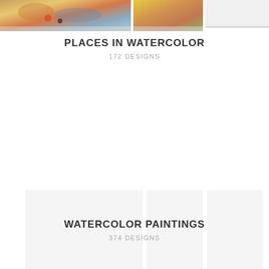[Figure (photo): Partial top view of watercolor artwork collection showing colorful street scenes and landscapes, cropped at top of page]
PLACES IN WATERCOLOR
172 DESIGNS
[Figure (photo): Grid of watercolor painting thumbnails, mostly blank/white placeholders with light gray backgrounds]
WATERCOLOR PAINTINGS
374 DESIGNS